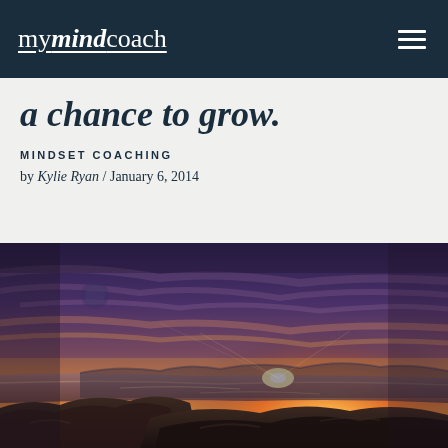mymindcoach
a chance to grow.
MINDSET COACHING
by Kylie Ryan / January 6, 2014
[Figure (photo): A dramatic sunset landscape photo showing rocky coastal terrain with a body of water in the middle distance, vibrant orange and purple sky with wispy clouds, and bright sun near the horizon.]